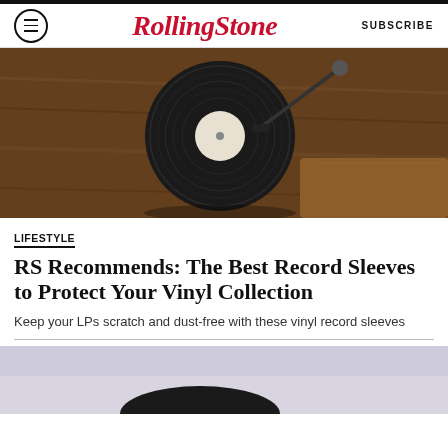Rolling Stone — SUBSCRIBE
[Figure (photo): Overhead view of a vinyl record on a wooden turntable]
LIFESTYLE
RS Recommends: The Best Record Sleeves to Protect Your Vinyl Collection
Keep your LPs scratch and dust-free with these vinyl record sleeves
[Figure (photo): Partial view of a second image below the divider, showing a dark object against a light background]